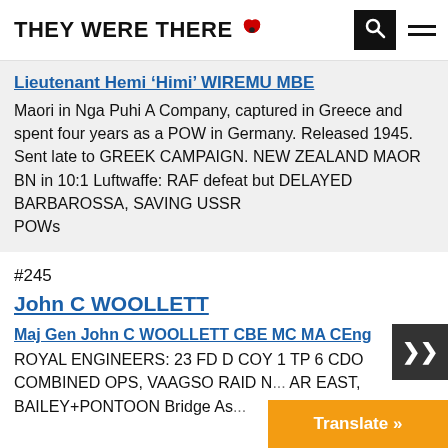THEY WERE THERE
Lieutenant Hemi 'Himi' WIREMU MBE
Maori in Nga Puhi A Company, captured in Greece and spent four years as a POW in Germany. Released 1945. Sent late to GREEK CAMPAIGN. NEW ZEALAND MAOR BN in 10:1 Luftwaffe: RAF defeat but DELAYED BARBAROSSA, SAVING USSR
POWs
#245
John C WOOLLETT
Maj Gen John C WOOLLETT CBE MC MA CEng
ROYAL ENGINEERS: 23 FD D COY 1 TP 6 CDO COMBINED OPS, VAAGSO RAID N... AR EAST, BAILEY+PONTOON Bridge As...